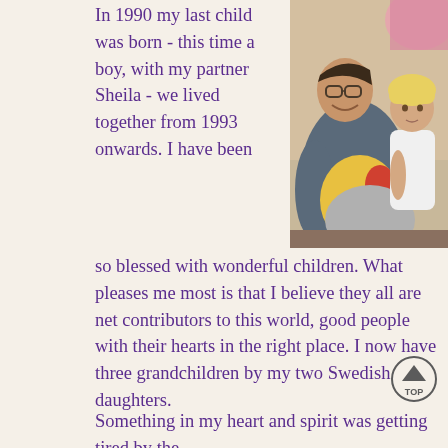In 1990 my last child was born - this time a boy, with my partner Sheila - we lived together from 1993 onwards. I have been so blessed with wonderful children. What pleases me most is that I believe they all are net contributors to this world, good people with their hearts in the right place. I now have three grandchildren by my two Swedish daughters.
[Figure (photo): A man with glasses smiling, holding stuffed animals, with a young blonde toddler standing beside him.]
Something in my heart and spirit was getting tired by the